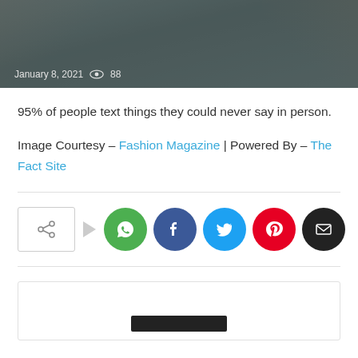[Figure (photo): Hero image of hands holding a phone, dark overlay with date and view count at bottom left]
January 8, 2021   👁 88
95% of people text things they could never say in person.
Image Courtesy – Fashion Magazine | Powered By – The Fact Site
[Figure (infographic): Social share buttons row: share icon box with arrow, then WhatsApp, Facebook, Twitter, Pinterest, Email circular buttons]
[Figure (other): Bottom box with a black bar at the bottom center]